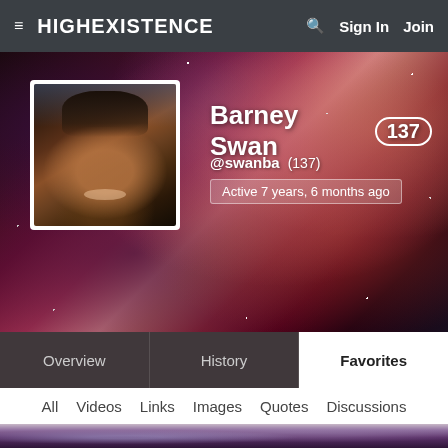≡ HIGHEXISTENCE  🔍  Sign In  Join
[Figure (photo): User profile banner with nebula/space background image and circular avatar photo of Barney Swan (man with hat, smiling outdoors)]
Barney Swan 137
@swanba (137) Active 7 years, 6 months ago
Overview | History | Favorites
All  Videos  Links  Images  Quotes  Discussions
Blog Posts
[Figure (photo): Partial bottom image strip showing a figure with blue eyes against a purple/dark background]